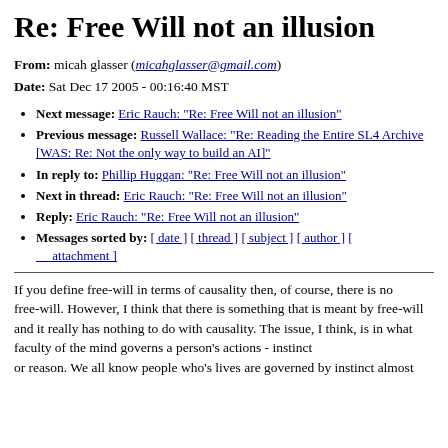Re: Free Will not an illusion
From: micah glasser (micahglasser@gmail.com)
Date: Sat Dec 17 2005 - 00:16:40 MST
Next message: Eric Rauch: "Re: Free Will not an illusion"
Previous message: Russell Wallace: "Re: Reading the Entire SL4 Archive [WAS: Re: Not the only way to build an AI]"
In reply to: Phillip Huggan: "Re: Free Will not an illusion"
Next in thread: Eric Rauch: "Re: Free Will not an illusion"
Reply: Eric Rauch: "Re: Free Will not an illusion"
Messages sorted by: [ date ] [ thread ] [ subject ] [ author ] [ attachment ]
If you define free-will in terms of causality then, of course, there is no
free-will. However, I think that there is something that is meant by free-will and it really has nothing to do with causality. The issue, I think, is in what faculty of the mind governs a person's actions - instinct
or reason. We all know people who's lives are governed by instinct almost